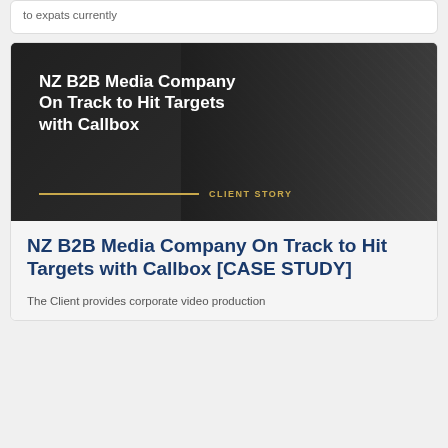to expats currently
[Figure (photo): Dark-toned photo of two people working together (man with glasses and woman), overlaid with white text 'NZ B2B Media Company On Track to Hit Targets with Callbox' and a gold 'CLIENT STORY' label with decorative line.]
NZ B2B Media Company On Track to Hit Targets with Callbox [CASE STUDY]
The Client provides corporate video production